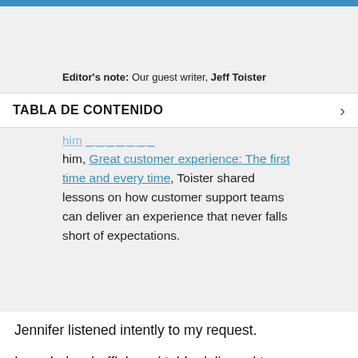Editor's note: Our guest writer, Jeff Toister
TABLA DE CONTENIDO
him, Great customer experience: The first time and every time, Toister shared lessons on how customer support teams can deliver an experience that never falls short of expectations.
Jennifer listened intently to my request.
I needed a shuffleboard table delivered to my vacation rental cabin. The cabin's reservation calendar was blocked off from January 5 to 8, and the shuffleboard table had to be